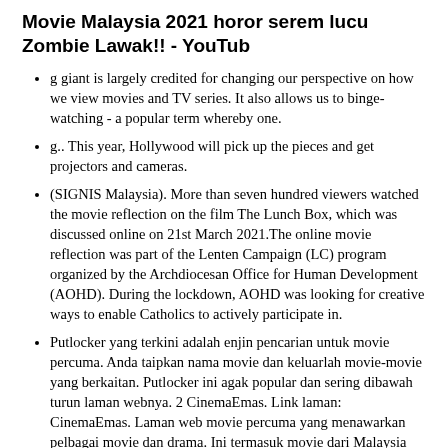Movie Malaysia 2021 horor serem lucu Zombie Lawak!! - YouTub
g giant is largely credited for changing our perspective on how we view movies and TV series. It also allows us to binge-watching - a popular term whereby one.
g.. This year, Hollywood will pick up the pieces and get projectors and cameras.
(SIGNIS Malaysia). More than seven hundred viewers watched the movie reflection on the film The Lunch Box, which was discussed online on 21st March 2021.The online movie reflection was part of the Lenten Campaign (LC) program organized by the Archdiocesan Office for Human Development (AOHD). During the lockdown, AOHD was looking for creative ways to enable Catholics to actively participate in.
Putlocker yang terkini adalah enjin pencarian untuk movie percuma. Anda taipkan nama movie dan keluarlah movie-movie yang berkaitan. Putlocker ini agak popular dan sering dibawah turun laman webnya. 2 CinemaEmas. Link laman: CinemaEmas. Laman web movie percuma yang menawarkan pelbagai movie dan drama. Ini termasuk movie dari Malaysia